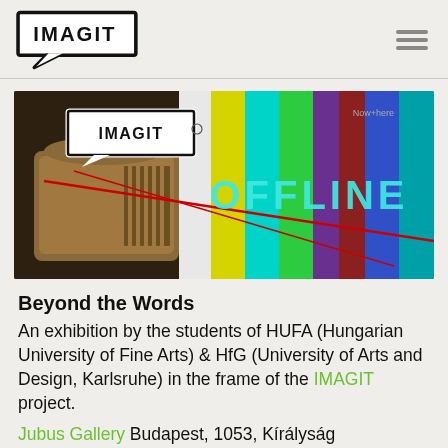IMAGIT
[Figure (screenshot): Hero image showing a vintage radio/TV device on the left against colorful TV test color bars (white, yellow, cyan, green, magenta, red, blue, dark), with the IMAGIT logo overlay (white speech-bubble box) in the upper-left and the text 'OFFLINE' displayed in cyan/light letters in the center-right of the color bars. A red laser/cable line crosses the image.]
Beyond the Words
An exhibition by the students of HUFA (Hungarian University of Fine Arts) & HfG (University of Arts and Design, Karlsruhe) in the frame of the IMAGIT project.
Jubus Gallery Budapest, 1053, Kírályság...